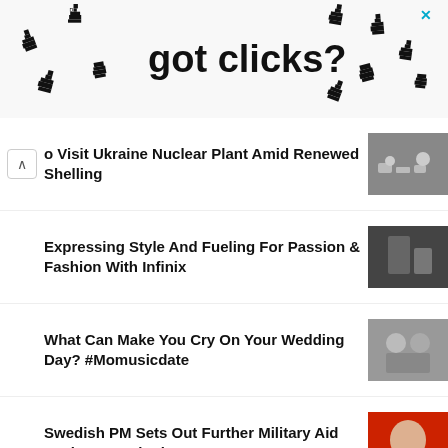[Figure (illustration): Advertisement banner with pixel-art cursor hands and text 'got clicks?' with a close X button in the top right]
o Visit Ukraine Nuclear Plant Amid Renewed Shelling
Expressing Style And Fueling For Passion & Fashion With Infinix
What Can Make You Cry On Your Wedding Day? #Momusicdate
Swedish PM Sets Out Further Military Aid Package to Ukraine
[Music] Samileesky - Fine girl